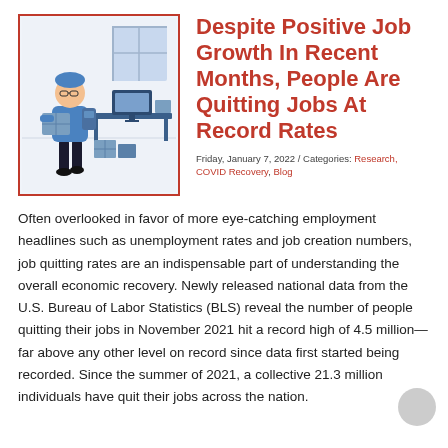[Figure (illustration): Illustration of a person carrying a box, leaving an office with a desk, computer monitor, and storage boxes in the background. Style is flat vector art in blue tones.]
Despite Positive Job Growth In Recent Months, People Are Quitting Jobs At Record Rates
Friday, January 7, 2022 / Categories: Research, COVID Recovery, Blog
Often overlooked in favor of more eye-catching employment headlines such as unemployment rates and job creation numbers, job quitting rates are an indispensable part of understanding the overall economic recovery. Newly released national data from the U.S. Bureau of Labor Statistics (BLS) reveal the number of people quitting their jobs in November 2021 hit a record high of 4.5 million—far above any other level on record since data first started being recorded. Since the summer of 2021, a collective 21.3 million individuals have quit their jobs across the nation.